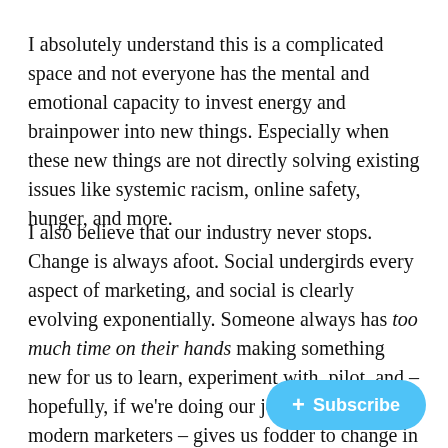I absolutely understand this is a complicated space and not everyone has the mental and emotional capacity to invest energy and brainpower into new things. Especially when these new things are not directly solving existing issues like systemic racism, online safety, hunger, and more.
I also believe that our industry never stops. Change is always afoot. Social undergirds every aspect of marketing, and social is clearly evolving exponentially. Someone always has too much time on their hands making something new for us to learn, experiment with, pilot, and – hopefully, if we're doing our jobs right as modern marketers – gives us fodd[er to] change in the world atop an always c[hanging landscape].